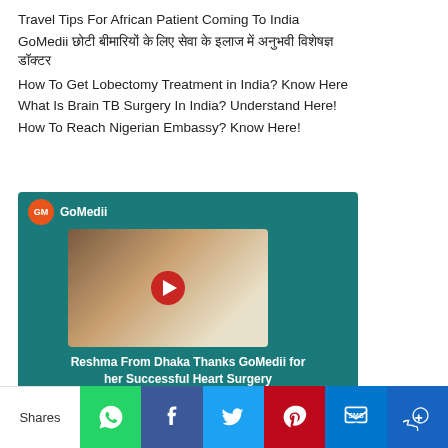Travel Tips For African Patient Coming To India
GoMedii छोटी बीमारियों के लिए सेवा के इलाज में अनुभवी विशेषज्ञ डॉक्टर
How To Get Lobectomy Treatment in India? Know Here
What Is Brain TB Surgery In India? Understand Here!
How To Reach Nigerian Embassy? Know Here!
[Figure (screenshot): GoMedii YouTube video card showing Reshma From Dhaka Thanks GoMedii for her Successful Heart Surgery, with a thumbnail of a woman wearing hijab and glasses, a red play button, on a teal background]
Shares
[Figure (infographic): Social share bar with WhatsApp, Facebook, Twitter, Pinterest, SMS, and crown icons]